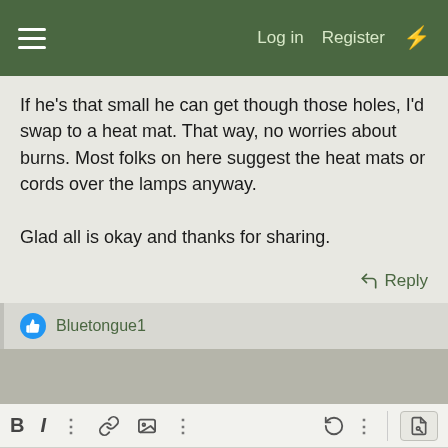☰  Log in  Register  ⚡
If he's that small he can get though those holes, I'd swap to a heat mat. That way, no worries about burns. Most folks on here suggest the heat mats or cords over the lamps anyway.

Glad all is okay and thanks for sharing.
↩ Reply
👍 Bluetongue1
Write your reply...